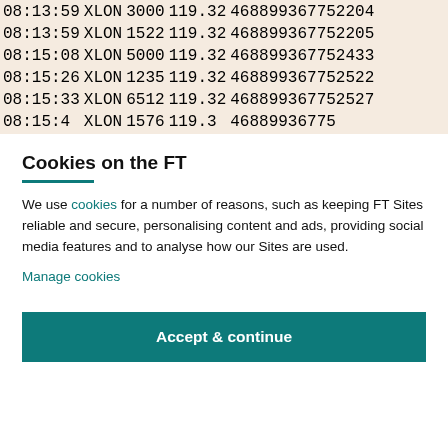| Time | Exchange | Volume | Price | Trade ID |
| --- | --- | --- | --- | --- |
| 08:13:59 | XLON | 3000 | 119.32 | 468899367752204 |
| 08:13:59 | XLON | 1522 | 119.32 | 468899367752205 |
| 08:15:08 | XLON | 5000 | 119.32 | 468899367752433 |
| 08:15:26 | XLON | 1235 | 119.32 | 468899367752522 |
| 08:15:33 | XLON | 6512 | 119.32 | 468899367752527 |
| 08:15:4… | XLON | 1576… | 119.3… | 46889936775… |
Cookies on the FT
We use cookies for a number of reasons, such as keeping FT Sites reliable and secure, personalising content and ads, providing social media features and to analyse how our Sites are used.
Manage cookies
Accept & continue